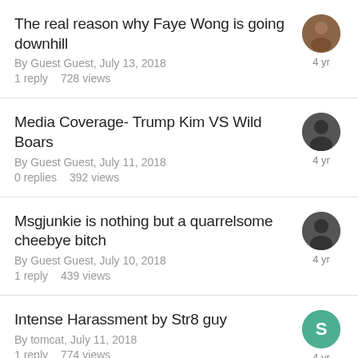The real reason why Faye Wong is going downhill
By Guest Guest, July 13, 2018
1 reply   728 views
4 yr
Media Coverage- Trump Kim VS Wild Boars
By Guest Guest, July 11, 2018
0 replies   392 views
4 yr
Msgjunkie is nothing but a quarrelsome cheebye bitch
By Guest Guest, July 10, 2018
1 reply   439 views
4 yr
Intense Harassment by Str8 guy
By tomcat, July 11, 2018
1 reply   774 views
4 yr
Cruise to Open Sea